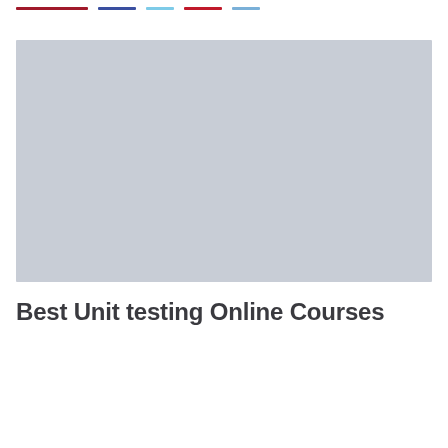navigation bar with colored underline tabs
[Figure (photo): Large placeholder image block with light blue-grey background, representing an embedded screenshot or photo related to unit testing online courses.]
Best Unit testing Online Courses